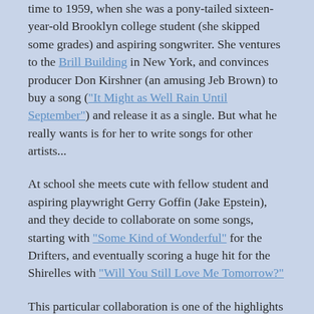time to 1959, when she was a pony-tailed sixteen-year-old Brooklyn college student (she skipped some grades) and aspiring songwriter. She ventures to the Brill Building in New York, and convinces producer Don Kirshner (an amusing Jeb Brown) to buy a song ("It Might as Well Rain Until September") and release it as a single. But what he really wants is for her to write songs for other artists...
At school she meets cute with fellow student and aspiring playwright Gerry Goffin (Jake Epstein), and they decide to collaborate on some songs, starting with "Some Kind of Wonderful" for the Drifters, and eventually scoring a huge hit for the Shirelles with "Will You Still Love Me Tomorrow?"
This particular collaboration is one of the highlights of the show, with King and Goffin composing and singing on a piano, then trying to convince the Shirelles to perform it. Which they eventually do, in a moment I still can't quite believe, they give really great theater at the...